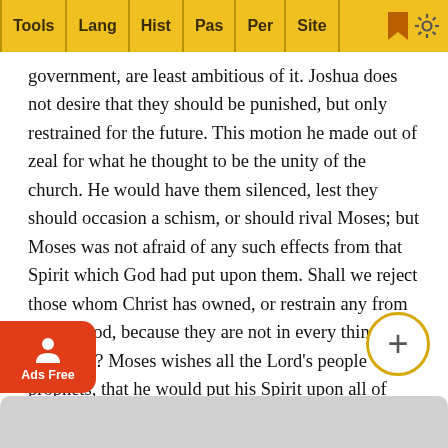Tools | Lang | Hist | Pas | Per | Site
government, are least ambitious of it. Joshua does not desire that they should be punished, but only restrained for the future. This motion he made out of zeal for what he thought to be the unity of the church. He would have them silenced, lest they should occasion a schism, or should rival Moses; but Moses was not afraid of any such effects from that Spirit which God had put upon them. Shall we reject those whom Christ has owned, or restrain any from doing good, because they are not in every thing of our mind? Moses wishes all the Lord's people were prophets, that he would put his Spirit upon all of them. Let the testimony of Moses be believed by those who desire to be in power; that government is a burden. It is a burden of care and trouble to those who make conscience of the duty of it; and to those who do not, it will be a heavier burden in the day of account. Let the example of Moses be followed by those in power; let them not desire it, and be ... Lord's ...